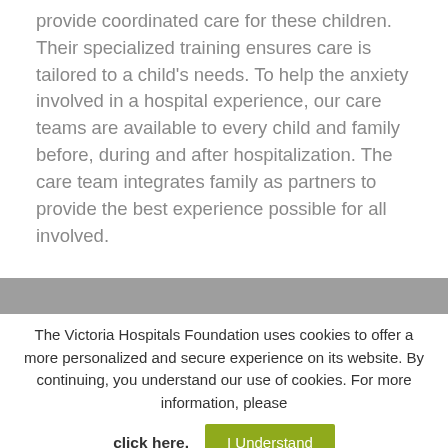provide coordinated care for these children. Their specialized training ensures care is tailored to a child's needs. To help the anxiety involved in a hospital experience, our care teams are available to every child and family before, during and after hospitalization. The care team integrates family as partners to provide the best experience possible for all involved.
The Victoria Hospitals Foundation uses cookies to offer a more personalized and secure experience on its website. By continuing, you understand our use of cookies. For more information, please click here.